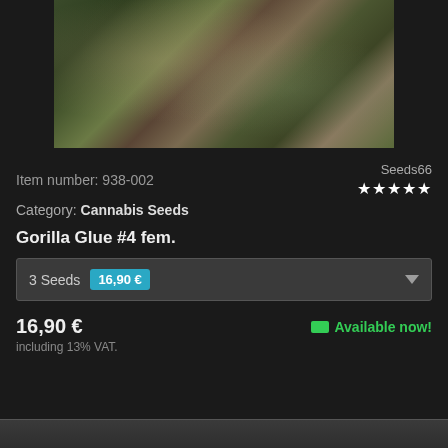[Figure (photo): Close-up photograph of cannabis flower buds with crystalline trichomes, dark background]
Item number: 938-002
Seeds66 ★★★★★
Category: Cannabis Seeds
Gorilla Glue #4 fem.
3 Seeds  16,90 €
16,90 €
Available now!
including 13% VAT.